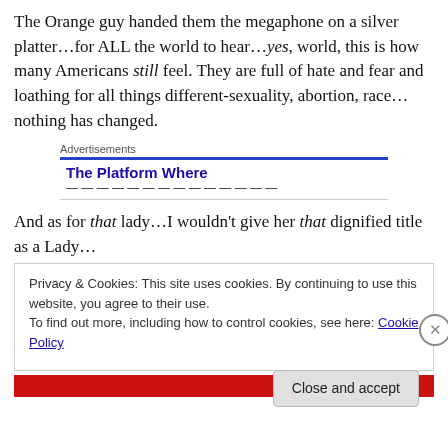The Orange guy handed them the megaphone on a silver platter…for ALL the world to hear…yes, world, this is how many Americans still feel. They are full of hate and fear and loathing for all things different-sexuality, abortion, race…nothing has changed.
[Figure (screenshot): Advertisement box with blue top border, label 'Advertisements', bold blue title 'The Platform Where' and partially visible subtitle text]
And as for that lady…I wouldn't give her that dignified title as a Lady…
Privacy & Cookies: This site uses cookies. By continuing to use this website, you agree to their use.
To find out more, including how to control cookies, see here: Cookie Policy
Close and accept